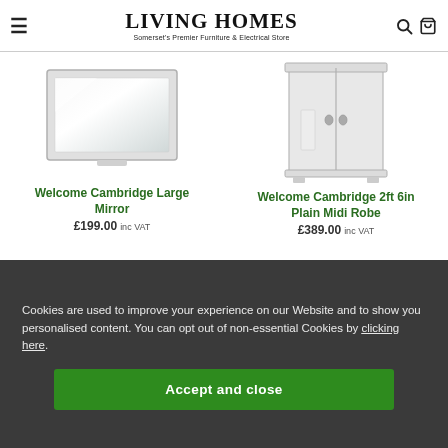LIVING HOMES — Somerset's Premier Furniture & Electrical Store
[Figure (photo): Welcome Cambridge Large Mirror product photo — rectangular white-framed mirror]
Welcome Cambridge Large Mirror
£199.00 inc VAT
[Figure (photo): Welcome Cambridge 2ft 6in Plain Midi Robe product photo — tall white wardrobe with two doors]
Welcome Cambridge 2ft 6in Plain Midi Robe
£389.00 inc VAT
Cookies are used to improve your experience on our Website and to show you personalised content. You can opt out of non-essential Cookies by clicking here.
Accept and close